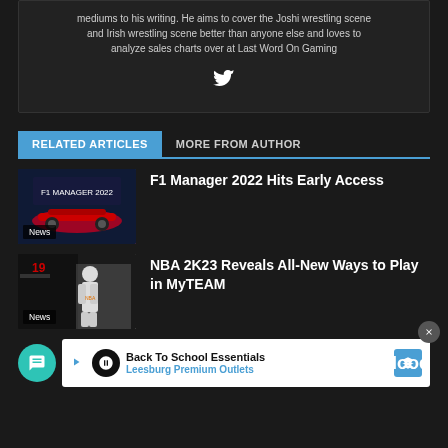mediums to his writing. He aims to cover the Joshi wrestling scene and Irish wrestling scene better than anyone else and loves to analyze sales charts over at Last Word On Gaming
[Figure (logo): Twitter bird icon]
RELATED ARTICLES | MORE FROM AUTHOR
[Figure (photo): F1 Manager 2022 game screenshot with race car, labeled News]
F1 Manager 2022 Hits Early Access
[Figure (photo): NBA 2K23 basketball player screenshot, labeled News]
NBA 2K23 Reveals All-New Ways to Play in MyTEAM
[Figure (infographic): Advertisement banner: Back To School Essentials - Leesburg Premium Outlets]
Hood